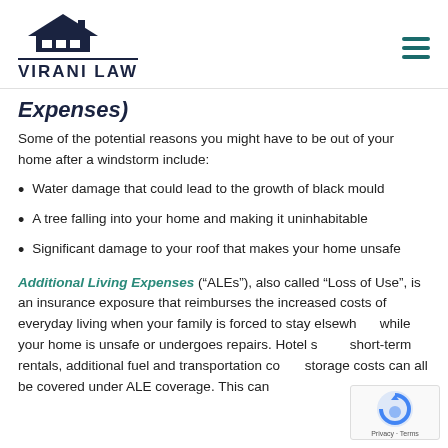VIRANI LAW
Expenses)
Some of the potential reasons you might have to be out of your home after a windstorm include:
Water damage that could lead to the growth of black mould
A tree falling into your home and making it uninhabitable
Significant damage to your roof that makes your home unsafe
Additional Living Expenses (“ALEs”), also called “Loss of Use”, is an insurance exposure that reimburses the increased costs of everyday living when your family is forced to stay elsewhere while your home is unsafe or undergoes repairs. Hotel stays, short-term rentals, additional fuel and transportation costs, storage costs can all be covered under ALE coverage. This can